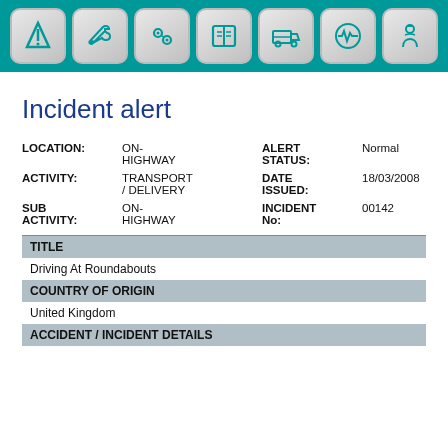[Figure (other): Navigation toolbar with 7 icon buttons on a teal background: road/route icon, wrench/tools icon, gears icon, book icon, truck icon, heartbeat/pulse icon, worker/person icon]
Incident alert
| LOCATION: | ON-HIGHWAY | ALERT STATUS: | Normal |
| ACTIVITY: | TRANSPORT / DELIVERY | DATE ISSUED: | 18/03/2008 |
| SUB ACTIVITY: | ON-HIGHWAY | INCIDENT No: | 00142 |
TITLE
Driving At Roundabouts
COUNTRY OF ORIGIN
United Kingdom
ACCIDENT / INCIDENT DETAILS